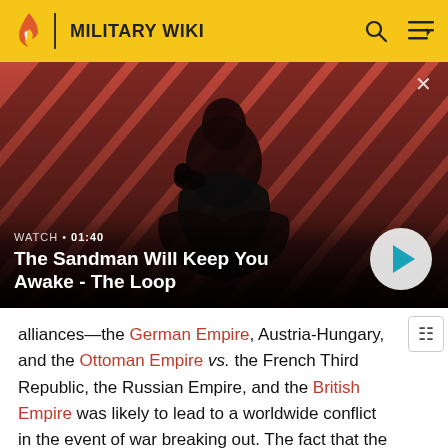MILITARY WIKI
[Figure (photo): Promotional video thumbnail showing a dark-clad figure with a raven on shoulder against a red and black diagonal stripe background. Title says 'The Sandman Will Keep You Awake - The Loop'. Watch time 01:40 shown with play button.]
alliances—the German Empire, Austria-Hungary, and the Ottoman Empire vs. the French Third Republic, the Russian Empire, and the British Empire was likely to lead to a worldwide conflict in the event of war breaking out. The fact that the powers involved had large overseas